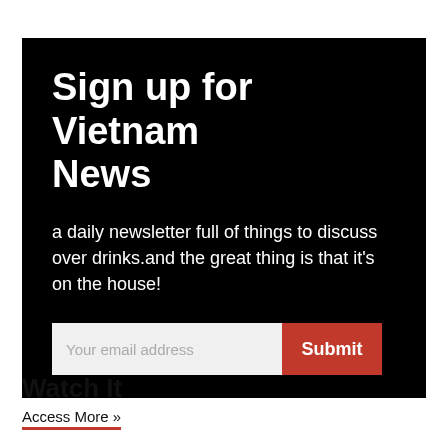Sign up for Vietnam News
a daily newsletter full of things to discuss over drinks.and the great thing is that it's on the house!
[Figure (other): Email signup form with text input labeled 'Your email address' and a red Submit button]
Watch It
Access More »